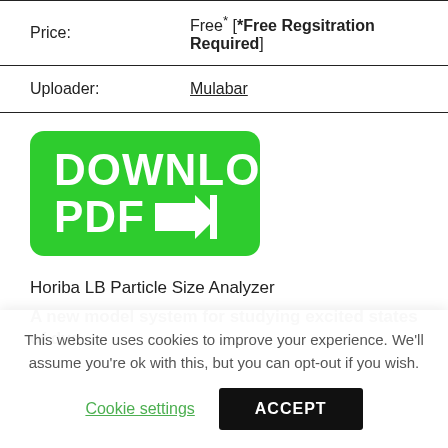| Price: | Free* [*Free Regsitration Required] |
| Uploader: | Mulabar |
[Figure (other): Green download PDF button with arrow icon]
Horiba LB Particle Size Analyzer
A new model system for studying excited states of dye
This website uses cookies to improve your experience. We'll assume you're ok with this, but you can opt-out if you wish.
Cookie settings   ACCEPT